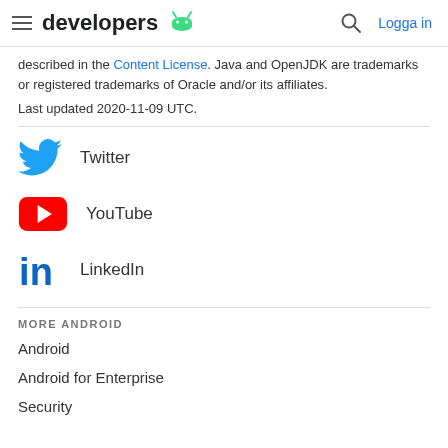developers  [Android logo] | [search icon] | Logga in
described in the Content License. Java and OpenJDK are trademarks or registered trademarks of Oracle and/or its affiliates.
Last updated 2020-11-09 UTC.
Twitter
YouTube
LinkedIn
MORE ANDROID
Android
Android for Enterprise
Security